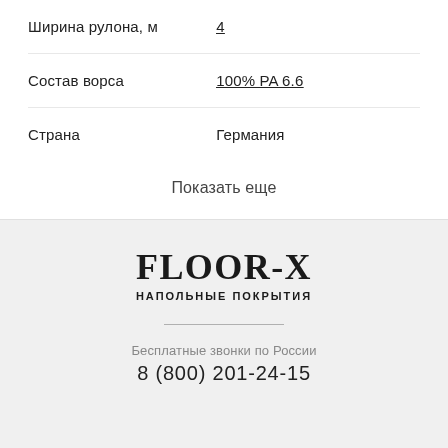| Ширина рулона, м | 4 |
| Состав ворса | 100% PA 6.6 |
| Страна | Германия |
Показать еще
[Figure (logo): FLOOR-X НАПОЛЬНЫЕ ПОКРЫТИЯ logo]
Бесплатные звонки по России
8 (800) 201-24-15